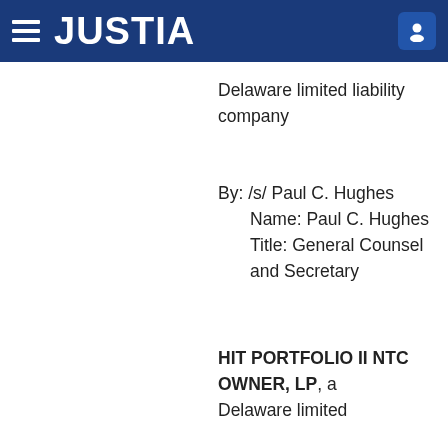JUSTIA
Delaware limited liability company
By: /s/ Paul C. Hughes
    Name: Paul C. Hughes
    Title: General Counsel and Secretary
HIT PORTFOLIO II NTC OWNER, LP, a Delaware limited